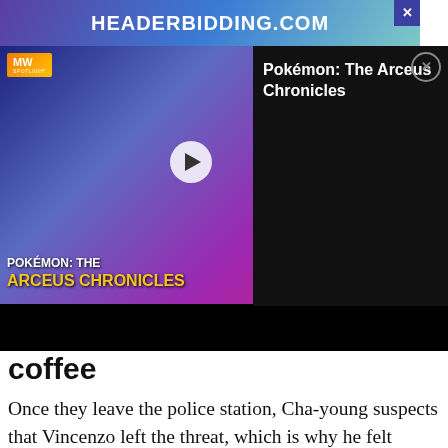[Figure (screenshot): Top banner ad for headerbidding.com with purple/teal gradient background and white bold text]
[Figure (screenshot): Video player ad showing Pokemon: The Arceus Chronicles with MW logo, play button, characters, and info panel on black background]
coffee
Once they leave the police station, Cha-young suspects that Vincenzo left the threat, which is why he felt guilty and helped her out. The pair go for coffee. Cha-young tells him he is the best at feigning ignorance. Vincenzo apologises for the inconvenience
and admits he was furious, accepting he left the s... her abou...
[Figure (screenshot): Bloomingdales banner ad: View Today's Top Deals! with woman in hat and SHOP NOW button]
both men were killed — he tells Cha-young...